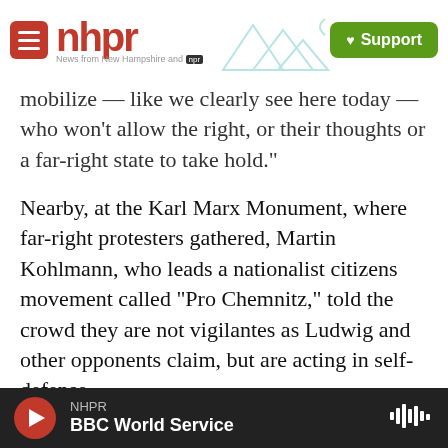[Figure (logo): NHPR logo with hamburger menu, mountain/radio tower illustration, and green Support button]
mobilize — like we clearly see here today — who won't allow the right, or their thoughts or a far-right state to take hold."
Nearby, at the Karl Marx Monument, where far-right protesters gathered, Martin Kohlmann, who leads a nationalist citizens movement called "Pro Chemnitz," told the crowd they are not vigilantes as Ludwig and other opponents claim, but are acting in self-defense.
"The Frankfurter Allgemeine newspaper recently misquoted me – but it did make the point: 'Take the knives away from the migrants, otherwise we will
[Figure (screenshot): NHPR audio player bar at bottom: red play button, NHPR label, BBC World Service show title, waveform icon]